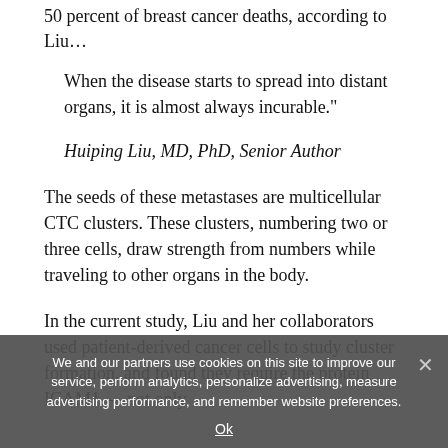50 percent of breast cancer deaths, according to Liu…
When the disease starts to spread into distant organs, it is almost always incurable."
Huiping Liu, MD, PhD, Senior Author
The seeds of these metastases are multicellular CTC clusters. These clusters, numbering two or three cells, draw strength from numbers while traveling to other organs in the body.
In the current study, Liu and her collaborators used patient-derived cancer cells to study cluster formation, and found they require the protein ICAM1 — not only
We and our partners use cookies on this site to improve our service, perform analytics, personalize advertising, measure advertising performance, and remember website preferences.
Ok